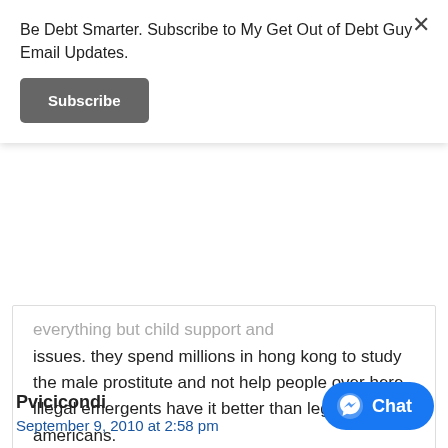Be Debt Smarter. Subscribe to My Get Out of Debt Guy Email Updates.
Subscribe
everything but child support and issues. they spend millions in hong kong to study the male prostitute and not help people over here. illegal emergents have it better than legal americans.
Reply
Pvicicondi
September 9, 2010 at 2:58 pm